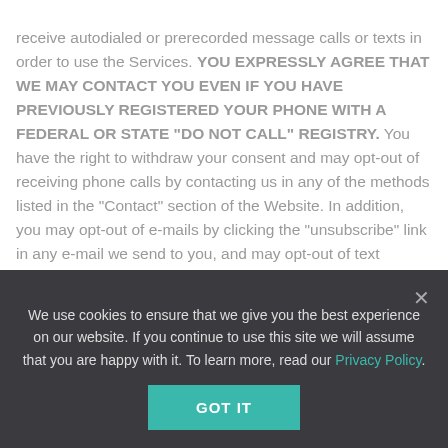receive autodialed or prerecorded message calls or texts in order to use the Services. YOU EXPRESSLY AGREE THAT WE MAY CONTACT YOU EVEN IF YOU HAVE PREVIOUSLY REGISTERED YOUR PHONE WITH A FEDERAL OR STATE “DO NOT CALL” REGISTRY. You have the right to withdraw your consent and may opt-out of receiving phone calls by contacting us in any of the methods listed in the “Contact” section of the Website. In addition, you may opt-out of e-mails by clicking the “unsubscribe” link in any e-mail we send to you, and may opt-out of text messages by replying “STOP” to text messages you receive from us. If you opt-out and then re-enable
We use cookies to ensure that we give you the best experience on our website. If you continue to use this site we will assume that you are happy with it. To learn more, read our Privacy Policy.
GOT IT